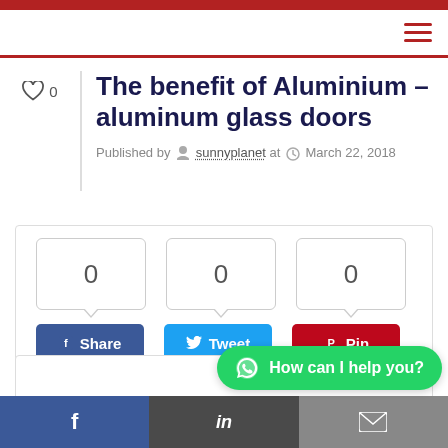The benefit of Aluminium – aluminum glass doors
Published by sunnyplanet at March 22, 2018
[Figure (infographic): Social share buttons with counts: 0 shares on Facebook (Share), 0 shares on Twitter (Tweet), 0 shares on Pinterest (Pin)]
[Figure (other): Advertisement or content box, mostly white/empty]
Facebook | LinkedIn | Email footer bar; WhatsApp chat button: How can I help you?